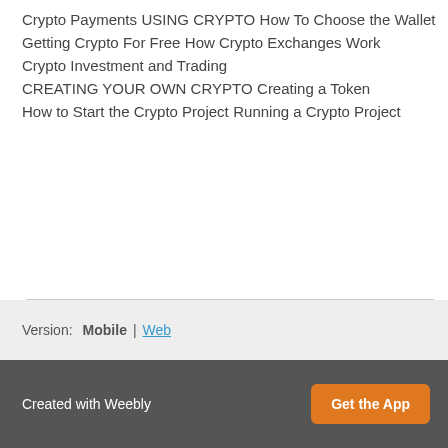Crypto Payments
USING CRYPTO
How To Choose the Wallet
Getting Crypto For Free
How Crypto Exchanges Work
Crypto Investment and Trading
CREATING YOUR OWN CRYPTO
Creating a Token
How to Start the Crypto Project
Running a Crypto Project
Version: Mobile | Web  Created with Weebly  Get the App